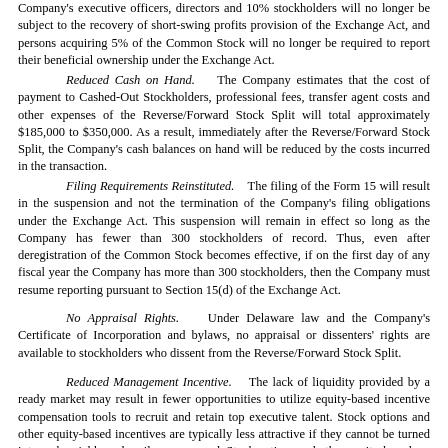Company's executive officers, directors and 10% stockholders will no longer be subject to the recovery of short-swing profits provision of the Exchange Act, and persons acquiring 5% of the Common Stock will no longer be required to report their beneficial ownership under the Exchange Act.
Reduced Cash on Hand. The Company estimates that the cost of payment to Cashed-Out Stockholders, professional fees, transfer agent costs and other expenses of the Reverse/Forward Stock Split will total approximately $185,000 to $350,000. As a result, immediately after the Reverse/Forward Stock Split, the Company's cash balances on hand will be reduced by the costs incurred in the transaction.
Filing Requirements Reinstituted. The filing of the Form 15 will result in the suspension and not the termination of the Company's filing obligations under the Exchange Act. This suspension will remain in effect so long as the Company has fewer than 300 stockholders of record. Thus, even after deregistration of the Common Stock becomes effective, if on the first day of any fiscal year the Company has more than 300 stockholders, then the Company must resume reporting pursuant to Section 15(d) of the Exchange Act.
No Appraisal Rights. Under Delaware law and the Company's Certificate of Incorporation and bylaws, no appraisal or dissenters' rights are available to stockholders who dissent from the Reverse/Forward Stock Split.
Reduced Management Incentive. The lack of liquidity provided by a ready market may result in fewer opportunities to utilize equity-based incentive compensation tools to recruit and retain top executive talent. Stock options and other equity-based incentives are typically less attractive if they cannot be turned into cash quickly and easily once earned. Stock options and other equity-based